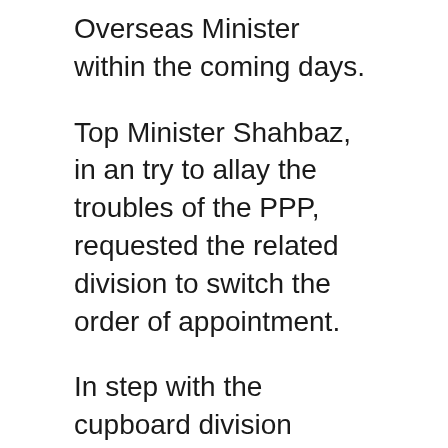Overseas Minister within the coming days.
Top Minister Shahbaz, in an try to allay the troubles of the PPP, requested the related division to switch the order of appointment.
In step with the cupboard division realize, Fatemi will proceed as SAPM with out portfolio and he or she has been granted the extra standing of Minister of State.
Knowledge Minister Marriyum Aurangzeb informed the media that the attention have been modified to make bigger Fatemi’s function.
“In the beginning he used to be SAP just for overseas affairs, now he’s an adviser for all